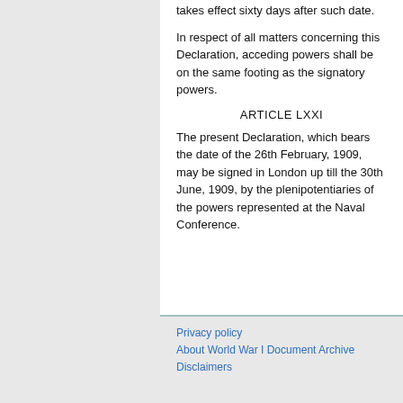takes effect sixty days after such date.
In respect of all matters concerning this Declaration, acceding powers shall be on the same footing as the signatory powers.
ARTICLE LXXI
The present Declaration, which bears the date of the 26th February, 1909, may be signed in London up till the 30th June, 1909, by the plenipotentiaries of the powers represented at the Naval Conference.
Privacy policy
About World War I Document Archive
Disclaimers